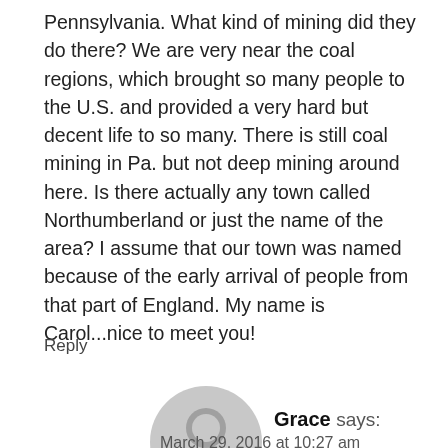Pennsylvania. What kind of mining did they do there? We are very near the coal regions, which brought so many people to the U.S. and provided a very hard but decent life to so many. There is still coal mining in Pa. but not deep mining around here. Is there actually any town called Northumberland or just the name of the area? I assume that our town was named because of the early arrival of people from that part of England. My name is Carol...nice to meet you!
Reply
[Figure (illustration): Generic user avatar — grey circle with a silhouette of a head and shoulders]
Grace says:
March 29, 2016 at 10:27 am
Hi Carol... There was mining in